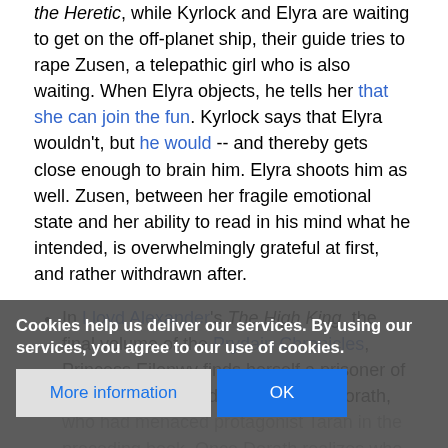the Heretic, while Kyrlock and Elyra are waiting to get on the off-planet ship, their guide tries to rape Zusen, a telepathic girl who is also waiting. When Elyra objects, he tells her that she can join the fun. Kyrlock says that Elyra wouldn't, but he would -- and thereby gets close enough to brain him. Elyra shoots him as well. Zusen, between her fragile emotional state and her ability to read in his mind what he intended, is overwhelmingly grateful at first, and rather withdrawn after.
In Lloyd Alexander's The High King, the final volume of the Prydain Chronicles, Princess Eilonwy finds herself a prisoner of the outlaw band led by the ruffian Dorath, who had menaced protagonist Taran in the preceding book. Once Dorath realizes who Eilonwy is to Taran, he says that when she's reunited with the hero, he will find that she has [explicit content not fully visible] explicitly stated
Cookies help us deliver our services. By using our services, you agree to our use of cookies.